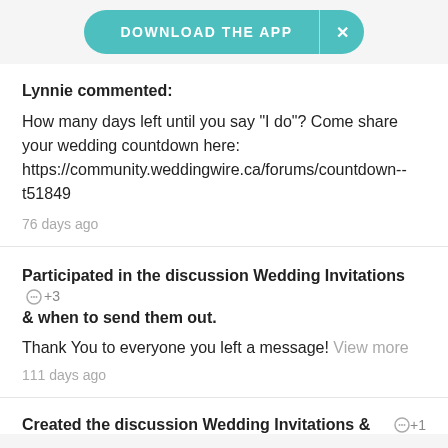DOWNLOAD THE APP
Lynnie commented:
How many days left until you say "I do"? Come share your wedding countdown here: https://community.weddingwire.ca/forums/countdown--t51849
76 days ago
Participated in the discussion Wedding Invitations & when to send them out. +3
Thank You to everyone you left a message! View more
111 days ago
Created the discussion Wedding Invitations & +1